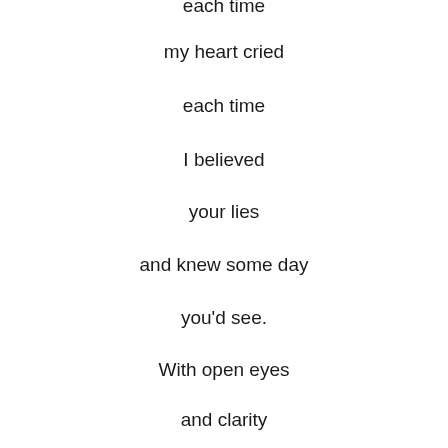each time
my heart cried
each time
I believed
your lies
and knew some day
you'd see.
With open eyes
and clarity
my steps